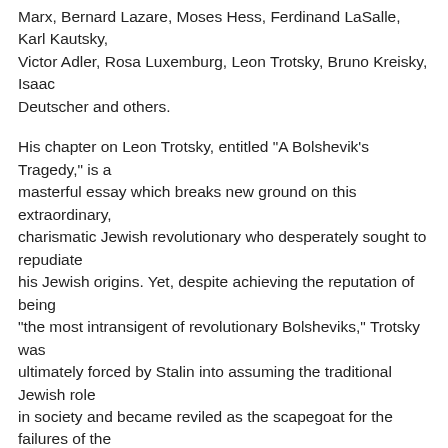Marx, Bernard Lazare, Moses Hess, Ferdinand LaSalle, Karl Kautsky, Victor Adler, Rosa Luxemburg, Leon Trotsky, Bruno Kreisky, Isaac Deutscher and others.
His chapter on Leon Trotsky, entitled "A Bolshevik's Tragedy," is a masterful essay which breaks new ground on this extraordinary, charismatic Jewish revolutionary who desperately sought to repudiate his Jewish origins. Yet, despite achieving the reputation of being "the most intransigent of revolutionary Bolsheviks," Trotsky was ultimately forced by Stalin into assuming the traditional Jewish role in society and became reviled as the scapegoat for the failures of the Revolution.